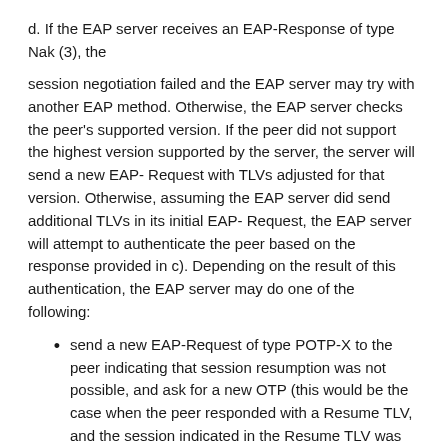d. If the EAP server receives an EAP-Response of type Nak (3), the
session negotiation failed and the EAP server may try with another EAP method. Otherwise, the EAP server checks the peer's supported version. If the peer did not support the highest version supported by the server, the server will send a new EAP- Request with TLVs adjusted for that version. Otherwise, assuming the EAP server did send additional TLVs in its initial EAP- Request, the EAP server will attempt to authenticate the peer based on the response provided in c). Depending on the result of this authentication, the EAP server may do one of the following:
send a new EAP-Request of type POTP-X to the peer indicating that session resumption was not possible, and ask for a new OTP (this would be the case when the peer responded with a Resume TLV, and the session indicated in the Resume TLV was not valid),